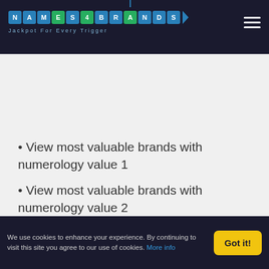NAMES4BRANDS — Jackpot For Every Trigger
View most valuable brands with numerology value 1
View most valuable brands with numerology value 2
We use cookies to enhance your experience. By continuing to visit this site you agree to our use of cookies. More info